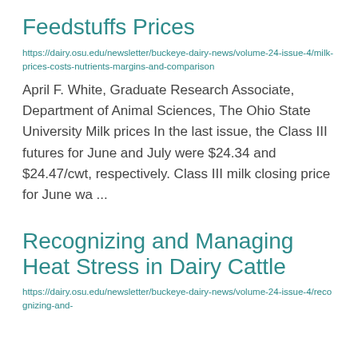Feedstuffs Prices
https://dairy.osu.edu/newsletter/buckeye-dairy-news/volume-24-issue-4/milk-prices-costs-nutrients-margins-and-comparison
April F. White, Graduate Research Associate, Department of Animal Sciences, The Ohio State University Milk prices In the last issue, the Class III futures for June and July were $24.34 and $24.47/cwt, respectively. Class III milk closing price for June wa ...
Recognizing and Managing Heat Stress in Dairy Cattle
https://dairy.osu.edu/newsletter/buckeye-dairy-news/volume-24-issue-4/recognizing-and-